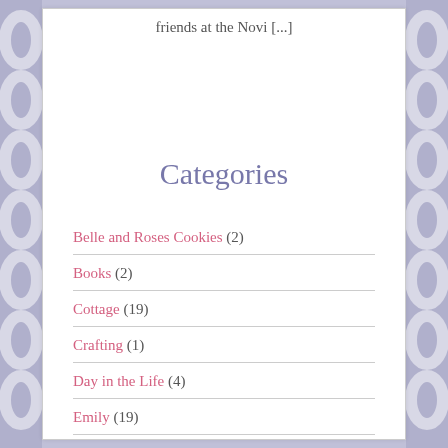friends at the Novi [...]
Categories
Belle and Roses Cookies (2)
Books (2)
Cottage (19)
Crafting (1)
Day in the Life (4)
Emily (19)